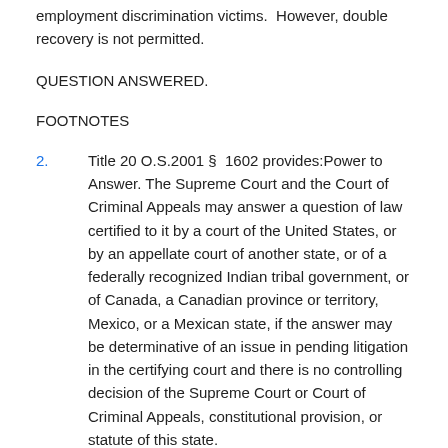employment discrimination victims.  However, double recovery is not permitted.
QUESTION ANSWERED.
FOOTNOTES
2.      Title 20 O.S.2001 §  1602 provides:Power to Answer. The Supreme Court and the Court of Criminal Appeals may answer a question of law certified to it by a court of the United States, or by an appellate court of another state, or of a federally recognized Indian tribal government, or of Canada, a Canadian province or territory, Mexico, or a Mexican state, if the answer may be determinative of an issue in pending litigation in the certifying court and there is no controlling decision of the Supreme Court or Court of Criminal Appeals, constitutional provision, or statute of this state.
3.      Title 20 O.S.2001 § 1602.1 provides:Power to